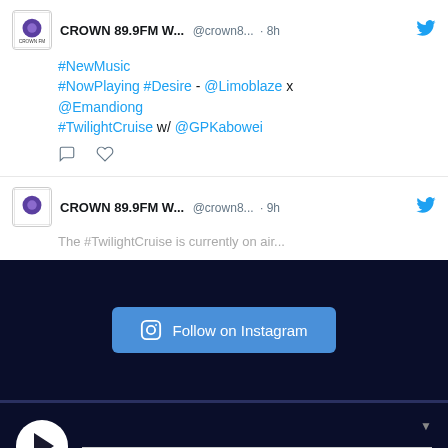[Figure (screenshot): Tweet from CROWN 89.9FM W... (@crown8...) posted 8h ago. Text: #NewMusic #NowPlaying #Desire - @Limoblaze X @Emandiong #TwilightCruise w/ @GPKabowei. With comment and heart icons.]
[Figure (screenshot): Partial tweet from CROWN 89.9FM W... (@crown8...) posted 9h ago, text cut off.]
[Figure (screenshot): Dark background section with a blue 'Follow on Instagram' button with Instagram icon.]
[Figure (screenshot): Dark audio player with white circular play button and a progress bar line.]
Crown 89.9 FM WARRI